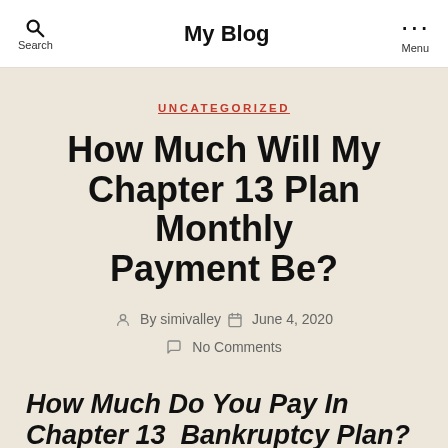Search   My Blog   Menu
UNCATEGORIZED
How Much Will My Chapter 13 Plan Monthly Payment Be?
By simivalley   June 4, 2020   No Comments
How Much Do You Pay In Chapter 13 Bankruptcy Plan?